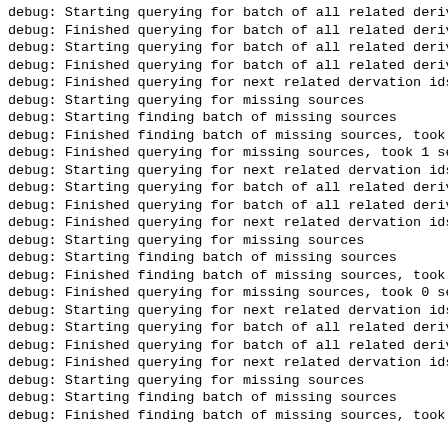debug: Starting querying for batch of all related deriva
debug: Finished querying for batch of all related deriva
debug: Starting querying for batch of all related deriva
debug: Finished querying for batch of all related deriva
debug: Finished querying for next related dervation ids,
debug: Starting querying for missing sources
debug: Starting finding batch of missing sources
debug: Finished finding batch of missing sources, took 1
debug: Finished querying for missing sources, took 1 sec
debug: Starting querying for next related dervation ids
debug: Starting querying for batch of all related deriva
debug: Finished querying for batch of all related deriva
debug: Finished querying for next related dervation ids,
debug: Starting querying for missing sources
debug: Starting finding batch of missing sources
debug: Finished finding batch of missing sources, took 0
debug: Finished querying for missing sources, took 0 sec
debug: Starting querying for next related dervation ids
debug: Starting querying for batch of all related deriva
debug: Finished querying for batch of all related deriva
debug: Finished querying for next related dervation ids,
debug: Starting querying for missing sources
debug: Starting finding batch of missing sources
debug: Finished finding batch of missing sources, took 0